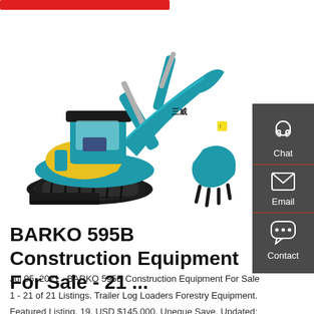[Figure (photo): Teal/blue mini excavator with yellow body panels and black tracks on white background]
[Figure (infographic): Dark gray sidebar with Chat, Email, and Contact icons and labels]
BARKO 595B Construction Equipment For Sale - 21 ...
Jul 05, 2021 · BARKO 595B Construction Equipment For Sale
1 - 21 of 21 Listings. Trailer Log Loaders Forestry Equipment.
Featured Listing. 19. USD $145,000. Uneque Save. Updated: